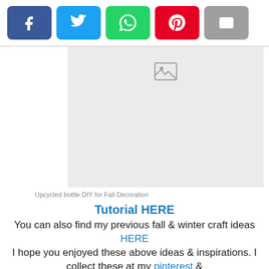[Figure (infographic): Social share buttons: Facebook (blue), Twitter (cyan), WhatsApp (green), Pinterest (red), Email (gray)]
[Figure (photo): Image placeholder with gray background and image icon for 'Upcycled bottle DIY for Fall Decoration']
Upcycled bottle DIY for Fall Decoration
Tutorial HERE
You can also find my previous fall & winter craft ideas HERE
I hope you enjoyed these above ideas & inspirations. I collect these at my pinterest &